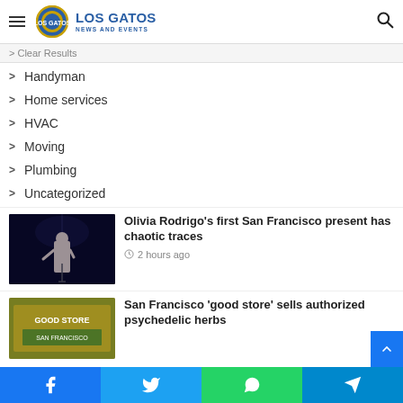LOS GATOS NEWS AND EVENTS
Clear Results
Handyman
Home services
HVAC
Moving
Plumbing
Uncategorized
[Figure (photo): Performer on stage in dark venue]
Olivia Rodrigo’s first San Francisco present has chaotic traces
2 hours ago
[Figure (photo): Colorful banner sign at event]
San Francisco ‘good store’ sells authorized psychedelic herbs